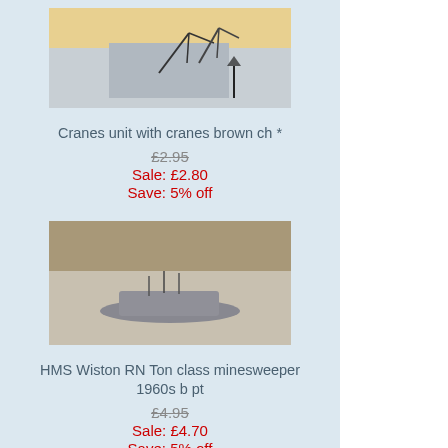[Figure (photo): Product photo of Cranes unit with cranes brown, small model pieces on light background]
Cranes unit with cranes brown ch *
£2.95
Sale: £2.80
Save: 5% off
[Figure (photo): Product photo of HMS Wiston RN Ton class minesweeper 1960s model ship on beige background]
HMS Wiston RN Ton class minesweeper 1960s b pt
£4.95
Sale: £4.70
Save: 5% off
[Figure (photo): Product photo of HMS Broke RN flotilla leader 1930s model ship on light background]
HMS Broke RN flotilla leader 1930s dg ^